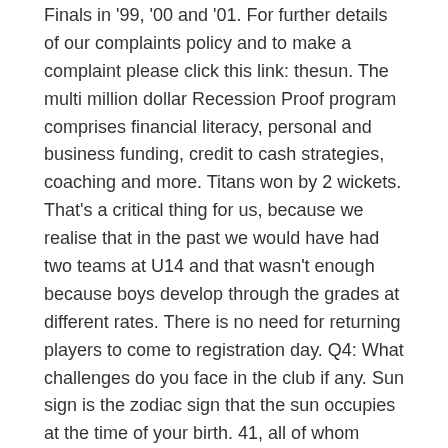Finals in '99, '00 and '01. For further details of our complaints policy and to make a complaint please click this link: thesun. The multi million dollar Recession Proof program comprises financial literacy, personal and business funding, credit to cash strategies, coaching and more. Titans won by 2 wickets. That's a critical thing for us, because we realise that in the past we would have had two teams at U14 and that wasn't enough because boys develop through the grades at different rates. There is no need for returning players to come to registration day. Q4: What challenges do you face in the club if any. Sun sign is the zodiac sign that the sun occupies at the time of your birth. 41, all of whom secured selection on the European Cross Country team set to compete in Fingal Dublin on December 12th. Here's a great guide to show you how to get it done. The Razorbacks return to competition in two weeks when they travel to Gainesville, Fla. In 2007, Star of the Sea Basketball Club changed their name to Belfast Star Basketball Club. New York Jets @nyjets November 28, 2021. Is Josh Johnson single or dating. Latest news from the world of sport, along with the best in opinion from our outstanding team of sports writers. All images are property the. Join the Around The Foghorn team. Find the latest Limerick news, sport, business, death notices, entertainment and more. Surrounded closely by bodyguards and Canastota police officers, the former heavyweight champion made his first public appearance of the weekend Friday to immortalize the thing that made him famous. Monica